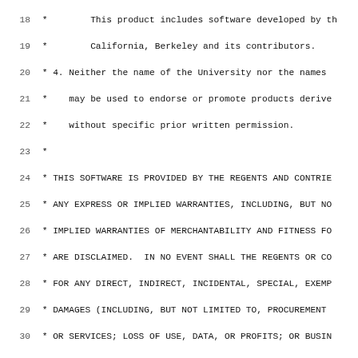Source code listing: fdesc.h header file (lines 18-50), showing BSD license comment block and beginning of kernel struct/define declarations.